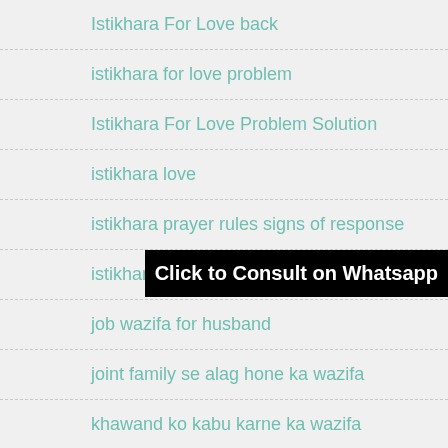Istikhara For Love back
istikhara for love problem
Istikhara For Love Problem Solution
istikhara love
istikhara prayer rules signs of response
istikhara signs for divorce
job wazifa for husband
joint family se alag hone ka wazifa
khawand ko kabu karne ka wazifa
Kisi Ko Hasil Karne Ki Dua in Quran